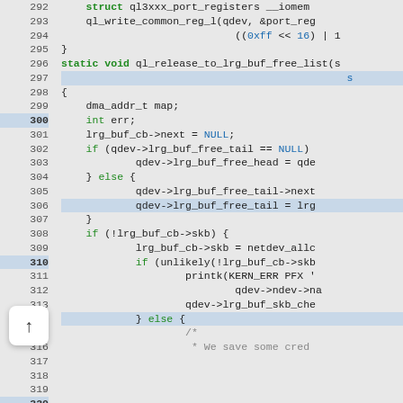[Figure (screenshot): Source code viewer showing C code lines 292-321, with line numbers on left, syntax highlighting (keywords in green, literals in blue), and a scroll-up button on the left side.]